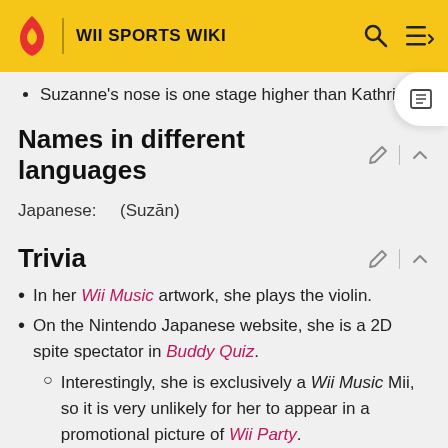WII SPORTS WIKI
Suzanne's nose is one stage higher than Kathrin's.
Names in different languages
Japanese:    (Suzān)
Trivia
In her Wii Music artwork, she plays the violin.
On the Nintendo Japanese website, she is a 2D spite spectator in Buddy Quiz.
Interestingly, she is exclusively a Wii Music Mii, so it is very unlikely for her to appear in a promotional picture of Wii Party.